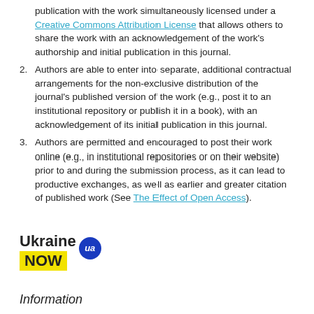publication with the work simultaneously licensed under a Creative Commons Attribution License that allows others to share the work with an acknowledgement of the work's authorship and initial publication in this journal.
2. Authors are able to enter into separate, additional contractual arrangements for the non-exclusive distribution of the journal's published version of the work (e.g., post it to an institutional repository or publish it in a book), with an acknowledgement of its initial publication in this journal.
3. Authors are permitted and encouraged to post their work online (e.g., in institutional repositories or on their website) prior to and during the submission process, as it can lead to productive exchanges, as well as earlier and greater citation of published work (See The Effect of Open Access).
[Figure (logo): Ukraine NOW logo with yellow NOW box and blue UA badge]
Information